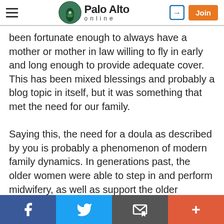Palo Alto online
been fortunate enough to always have a mother or mother in law willing to fly in early and long enough to provide adequate cover. This has been mixed blessings and probably a blog topic in itself, but it was something that met the need for our family.

Saying this, the need for a doula as described by you is probably a phenomenon of modern family dynamics. In generations past, the older women were able to step in and perform midwifery, as well as support the older children and the running of the household until such time as the new normal routine starting becoming more orderly. In an ideal society, would this be the best solution even today? Not so sure as when you get more than one woman trying to put her signature on the way
Facebook | Twitter | Email | More